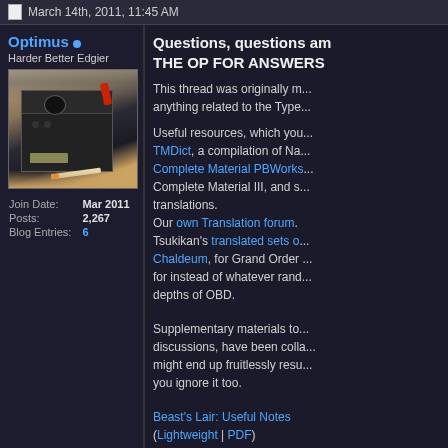March 14th, 2011, 11:45 AM
Optimus
Harder Better Edgier
[Figure (photo): Photo of a Nintendo GameCube console modified with what appears to be a cigarette, lighter, and fan, sitting on a wooden surface.]
| Join Date: | Mar 2011 |
| Posts: | 2,267 |
| Blog Entries: | 6 |
Questions, questions and more questions? CHECK THE OP FOR ANSWERS
This thread was originally made for discussing anything related to the Type...
Useful resources, which you... TMDict, a compilation of Na... Complete Material PBWorks... Complete Material III, and s... translations. Our own Translation forum. Tsukikan's translated sets of... Chaldeum, for Grand Order ... for instead of whatever rand... depths of OBD.
Supplementary materials to... discussions, have been colla... might end up fruitlessly resu... you ignore it too.
Beast's Lair: Useful Notes (Lightweight | PDF) Updated 17/05/15
If you've got a question that...